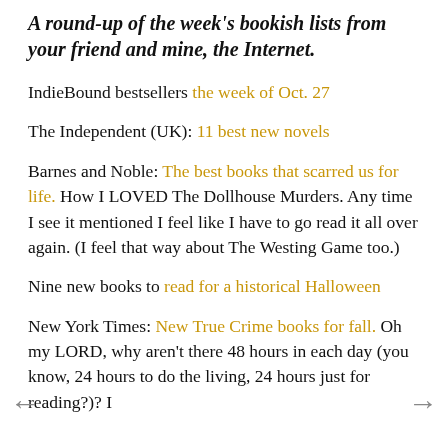A round-up of the week's bookish lists from your friend and mine, the Internet.
IndieBound bestsellers the week of Oct. 27
The Independent (UK): 11 best new novels
Barnes and Noble: The best books that scarred us for life. How I LOVED The Dollhouse Murders. Any time I see it mentioned I feel like I have to go read it all over again. (I feel that way about The Westing Game too.)
Nine new books to read for a historical Halloween
New York Times: New True Crime books for fall. Oh my LORD, why aren't there 48 hours in each day (you know, 24 hours to do the living, 24 hours just for reading?)? I